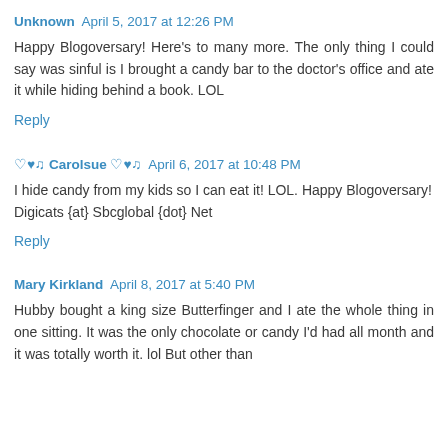Unknown  April 5, 2017 at 12:26 PM
Happy Blogoversary! Here's to many more. The only thing I could say was sinful is I brought a candy bar to the doctor's office and ate it while hiding behind a book. LOL
Reply
♡♥♫ Carolsue ♡♥♫  April 6, 2017 at 10:48 PM
I hide candy from my kids so I can eat it! LOL. Happy Blogoversary!
Digicats {at} Sbcglobal {dot} Net
Reply
Mary Kirkland  April 8, 2017 at 5:40 PM
Hubby bought a king size Butterfinger and I ate the whole thing in one sitting. It was the only chocolate or candy I'd had all month and it was totally worth it. lol But other than that...